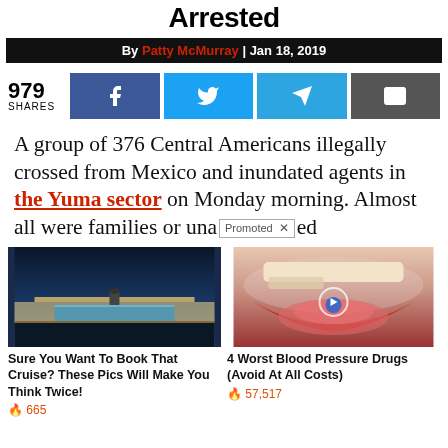Arrested
By Patty McMurray | Jan 18, 2019
979 SHARES
A group of 376 Central Americans illegally crossed from Mexico and inundated agents in the Yuma sector on Monday morning. Almost all were families or una[ccompanied]ed
[Figure (photo): Cruise ship deck with pool, nighttime photo]
Sure You Want To Book That Cruise? These Pics Will Make You Think Twice! 665
[Figure (photo): Close-up of open mouth with tongue and blue pill, with play button overlay]
4 Worst Blood Pressure Drugs (Avoid At All Costs) 57,517